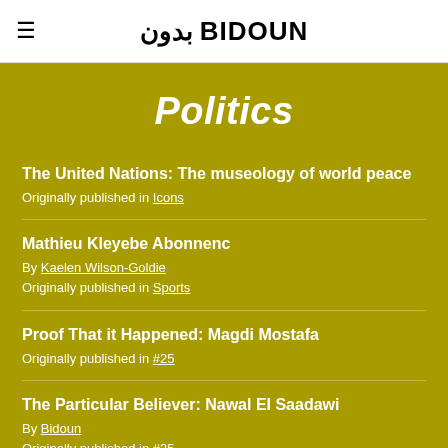≡  بدون BIDOUN
Politics
The United Nations: The museology of world peace
Originally published in Icons
Mathieu Kleyebe Abonnenc
By Kaelen Wilson-Goldie
Originally published in Sports
Proof That it Happened: Magdi Mostafa
Originally published in #25
The Particular Believer: Nawal El Saadawi
By Bidoun
Originally published in #25